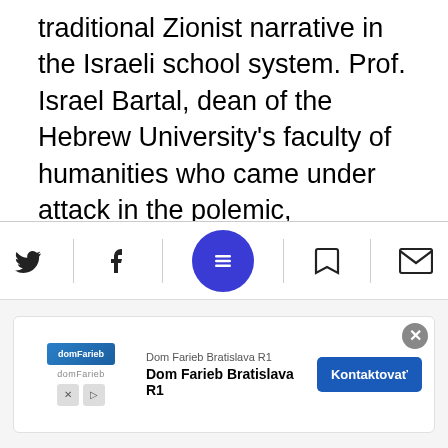traditional Zionist narrative in the Israeli school system. Prof. Israel Bartal, dean of the Hebrew University's faculty of humanities who came under attack in the polemic, describes Hazony's work as "pseudo research" that is riddled with inaccuracies and basic misunderstandings of texts. When the two appeared together on a television news show, Bartal says, "I noticed that he was a very anxious man. A man on the verge of erupting. He seemed threatened even though ostensibly, I was the one under attack."
[Figure (screenshot): Mobile browser toolbar with Twitter, Facebook, hamburger menu (blue circle), bookmark, and email icons]
[Figure (screenshot): Advertisement banner for Dom Farieb Bratislava R1 with logo, title, and Kontaktovať button]